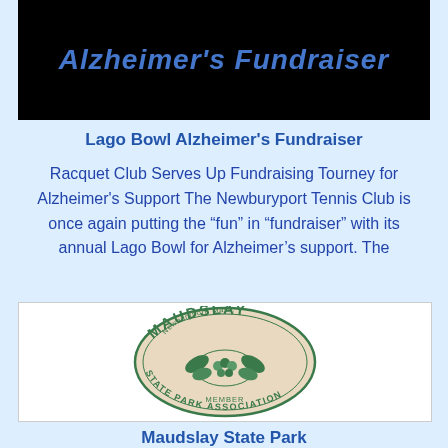[Figure (photo): Black background banner image with bold italic blue text reading Alzheimer's Fundraiser]
Lago Bowl Alzheimer's Fundraiser
Racquet Club Serves Up Fundraising Tourney for Alzheimer's Support The Newburyport Tennis Club is once again putting the “fun” in “fundraiser” with its annual Lago Bowl for Alzheimer’s support. The
[Figure (logo): Maudslay State Park Association circular membership badge/logo. Beige circle with dark green text and floral illustration. Text reads: MAUDSLAY, Newburyport, Mass., STATE PARK ASSOCIATION, MEMBER]
Maudslay State Park